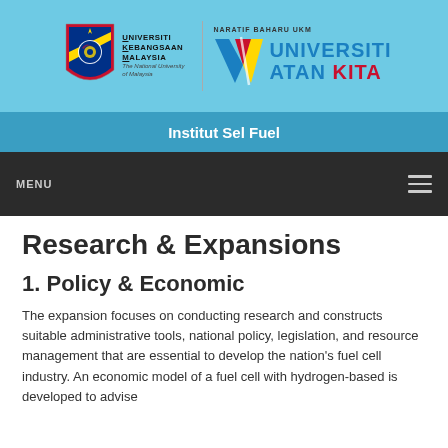[Figure (logo): UKM (Universiti Kebangsaan Malaysia) logo with shield and text, alongside Naratif Baharu UKM Universiti Watan Kita logo with V-shaped graphic in blue, yellow and red]
Institut Sel Fuel
MENU
Research & Expansions
1. Policy & Economic
The expansion focuses on conducting research and constructs suitable administrative tools, national policy, legislation, and resource management that are essential to develop the nation's fuel cell industry. An economic model of a fuel cell with hydrogen-based is developed to advise